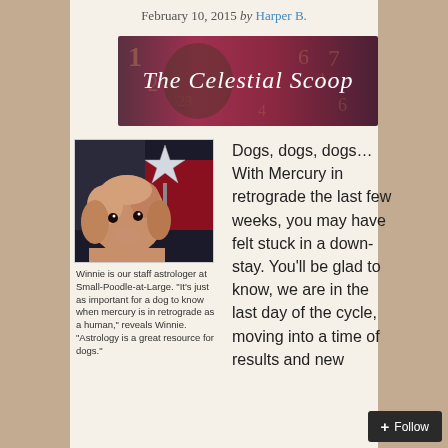February 10, 2015 by Harper B.
[Figure (illustration): Banner image reading 'The Celestial Scoop' in decorative script over a collage background with numbers and pink/red tones]
[Figure (photo): Photo of a fluffy tan/apricot poodle dog sitting in a car with a sparkly star wand visible in the background]
Winnie is our staff astrologer at Small-Poodle-at-Large. "It's just as important for a dog to know when mercury is in retrograde as a human," reveals Winnie. "Astrology is a great resource for dogs."
Dogs, dogs, dogs…With Mercury in retrograde the last few weeks, you may have felt stuck in a down-stay. You'll be glad to know, we are in the last day of the cycle, moving into a time of results and new